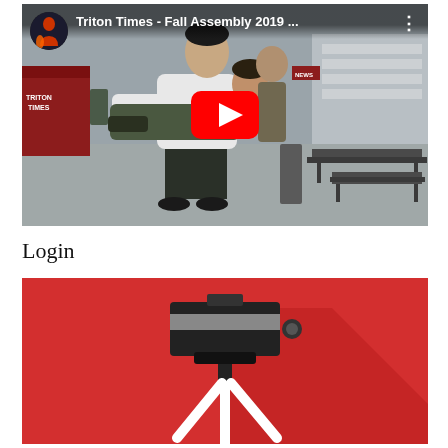[Figure (screenshot): YouTube video thumbnail for 'Triton Times - Fall Assembly 2019...' showing two students at a school campus, one carrying the other. Red YouTube play button in the center. Channel icon in top-left. Three-dot menu icon in top-right.]
Login
[Figure (illustration): Red background illustration showing a camera on a tripod, flat design style with a dark shadow. Part of a website or app interface.]